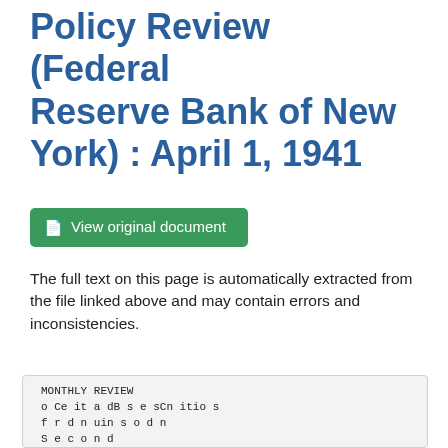Policy Review (Federal Reserve Bank of New York) : April 1, 1941
View original document
The full text on this page is automatically extracted from the file linked above and may contain errors and inconsistencies.
MONTHLY REVIEW
o Ce it a dB s e sCn itio s
f r d n uin s o d n
S e c o n d

F e d e r a l

Federal R eserve Bank, New Y ork

M o n e y M o n k e t in M a r c h